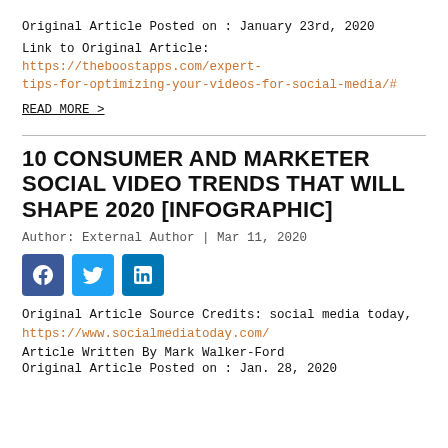Original Article Posted on : January 23rd, 2020
Link to Original Article: https://theboostapps.com/expert-tips-for-optimizing-your-videos-for-social-media/#
READ MORE >
10 CONSUMER AND MARKETER SOCIAL VIDEO TRENDS THAT WILL SHAPE 2020 [INFOGRAPHIC]
Author: External Author | Mar 11, 2020
[Figure (other): Social media sharing icons: Facebook, Twitter, LinkedIn]
Original Article Source Credits: social media today, https://www.socialmediatoday.com/
Article Written By Mark Walker-Ford
Original Article Posted on : Jan. 28, 2020